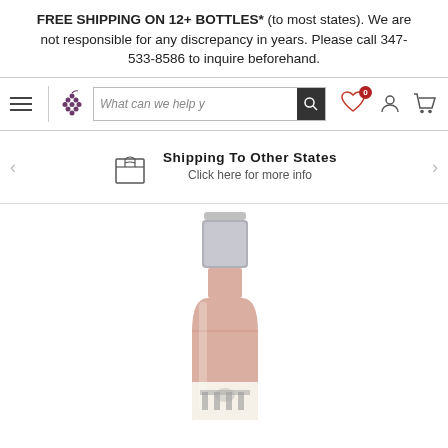FREE SHIPPING ON 12+ BOTTLES* (to most states). We are not responsible for any discrepancy in years. Please call 347-533-8586 to inquire beforehand.
[Figure (screenshot): Website navigation bar with hamburger menu, grape/logo icon, search bar with text 'What can we help y', search button, heart icon with badge '0', user icon, and cart icon]
[Figure (infographic): Shipping promotional banner with shipping box icon, bold text 'Shipping To Other States', subtext 'Click here for more info', and left/right navigation arrows]
[Figure (photo): Wine bottle with silver foil cap, rose-colored wine visible in the glass bottle, white label at the bottom with castle/crest illustration, partially cropped]